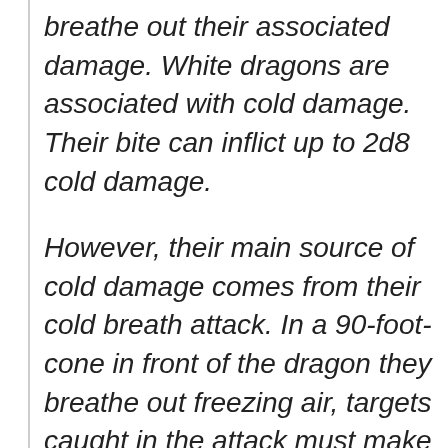breathe out their associated damage. White dragons are associated with cold damage. Their bite can inflict up to 2d8 cold damage.
However, their main source of cold damage comes from their cold breath attack. In a 90-foot-cone in front of the dragon they breathe out freezing air, targets caught in the attack must make a Con save. On a failed Con save, the target can take 16d8 cold damage. Assuming the